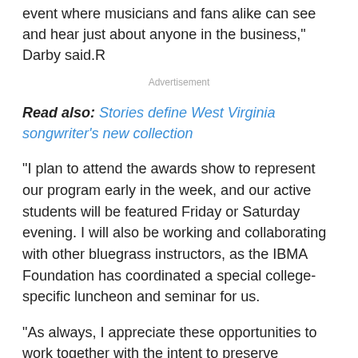event where musicians and fans alike can see and hear just about anyone in the business," Darby said.R
Advertisement
Read also: Stories define West Virginia songwriter's new collection
"I plan to attend the awards show to represent our program early in the week, and our active students will be featured Friday or Saturday evening. I will also be working and collaborating with other bluegrass instructors, as the IBMA Foundation has coordinated a special college-specific luncheon and seminar for us.
"As always, I appreciate these opportunities to work together with the intent to preserve bluegrass music," she said.